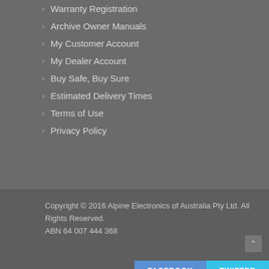Warranty Registration
Archive Owner Manuals
My Customer Account
My Dealer Account
Buy Safe, Buy Sure
Estimated Delivery Times
Terms of Use
Privacy Policy
Copyright © 2016 Alpine Electronics of Australia Pty Ltd. All Rights Reserved.
ABN 64 007 444 368